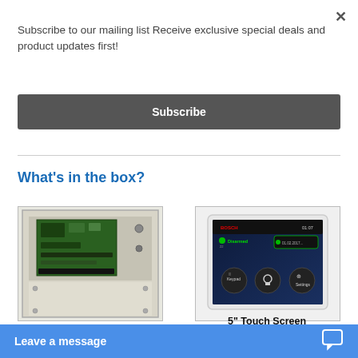Subscribe to our mailing list Receive exclusive special deals and product updates first!
Subscribe
What's in the box?
[Figure (photo): 2000 Control Panel in metal cabinet with electronics board]
2000 Control Panel in metal cabinet with tamper switch.
[Figure (photo): 5 inch Bosch touch screen keypad showing Disarmed status]
5" Touch Screen
Menu based programming. Looks great and is easy to use.
Leave a message